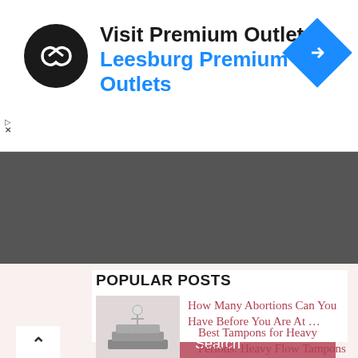[Figure (screenshot): Advertisement banner for Visit Premium Outlets® with black circular logo with infinity-like symbol, blue directional road sign icon on right, main text 'Visit Premium Outlets®' in black bold and 'Leesburg Premium Outlets' in blue bold]
[Figure (screenshot): Search bar interface with dark gray background, pink/rose colored Search button, and a white chevron-up button on the left]
[Figure (screenshot): White content card placeholder area]
POPULAR POSTS
[Figure (photo): A 3D render of a small figure standing on concrete steps or blocks]
How Many Abortions Can You Have Before You Are At …
Best Tampons for Heavy Periods: Heavy Flow Tampons